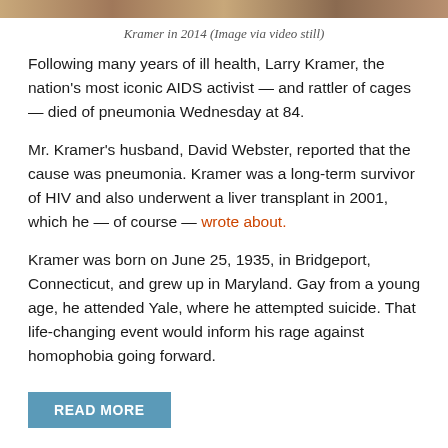[Figure (photo): Top strip showing a partial photograph, likely of Kramer in 2014]
Kramer in 2014 (Image via video still)
Following many years of ill health, Larry Kramer, the nation's most iconic AIDS activist — and rattler of cages — died of pneumonia Wednesday at 84.
Mr. Kramer's husband, David Webster, reported that the cause was pneumonia. Kramer was a long-term survivor of HIV and also underwent a liver transplant in 2001, which he — of course — wrote about.
Kramer was born on June 25, 1935, in Bridgeport, Connecticut, and grew up in Maryland. Gay from a young age, he attended Yale, where he attempted suicide. That life-changing event would inform his rage against homophobia going forward.
READ MORE